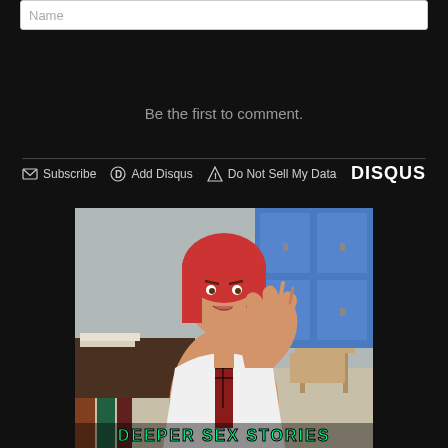Name
Be the first to comment.
Subscribe  Add Disqus  Do Not Sell My Data  DISQUS
[Figure (photo): Woman with red hair in a classroom setting wearing a white halter top and plaid tie, making a hand gesture, with blue lockers and desks visible in the background. Text overlay at bottom reads 'DEEPER SEX STORIES']